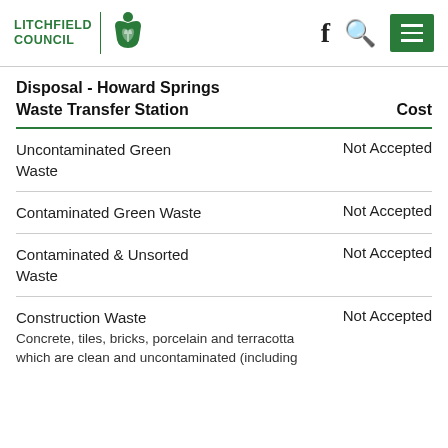Litchfield Council
Disposal - Howard Springs Waste Transfer Station
| Waste Transfer Station | Cost |
| --- | --- |
| Uncontaminated Green Waste | Not Accepted |
| Contaminated Green Waste | Not Accepted |
| Contaminated & Unsorted Waste | Not Accepted |
| Construction Waste
Concrete, tiles, bricks, porcelain and terracotta which are clean and uncontaminated (including | Not Accepted |